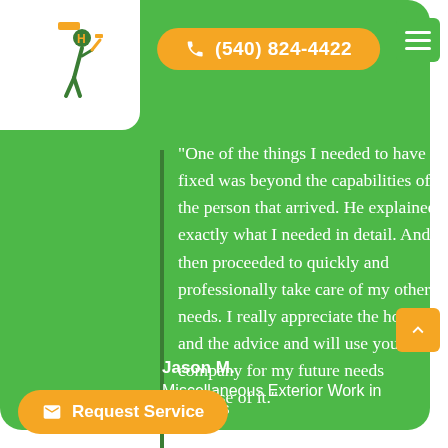[Figure (logo): Company logo with handyman figure in green and yellow colors]
(540) 824-4422
“One of the things I needed to have fixed was beyond the capabilities of the person that arrived. He explained exactly what I needed in detail. And then proceeded to quickly and professionally take care of my other needs. I really appreciate the honesty and the advice and will use your company for my future needs because of it.”
Jason M.
Miscellaneous Exterior Work in Stephens
Request Service